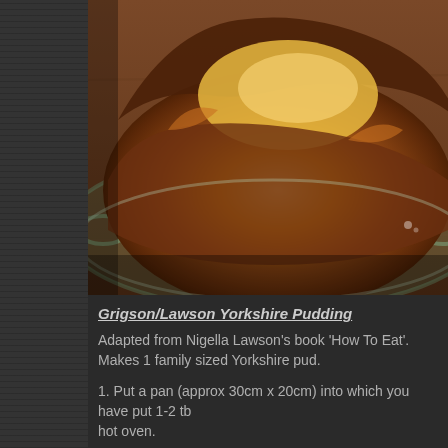[Figure (photo): A Yorkshire pudding in a round glass Pyrex baking dish, photographed on a wooden table. The pudding is golden-brown and puffed up around the edges, darkened and crispy on the rim.]
Grigson/Lawson Yorkshire Pudding
Adapted from Nigella Lawson's book 'How To Eat'. Makes 1 family sized Yorkshire pud.
1. Put a pan (approx 30cm x 20cm) into which you have put 1-2 tb hot oven.